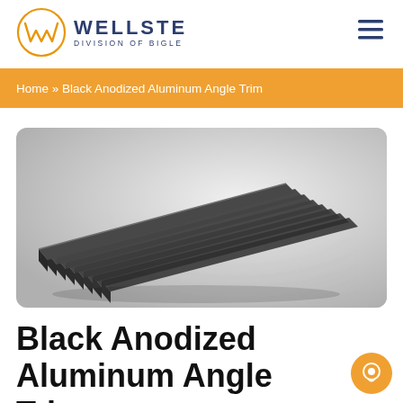WELLSTE DIVISION OF BIGLE
Home » Black Anodized Aluminum Angle Trim
[Figure (photo): Multiple black anodized aluminum angle trim pieces fanned out on a light gray gradient background, showing L-shaped profile from the side.]
Black Anodized Aluminum Angle Trim